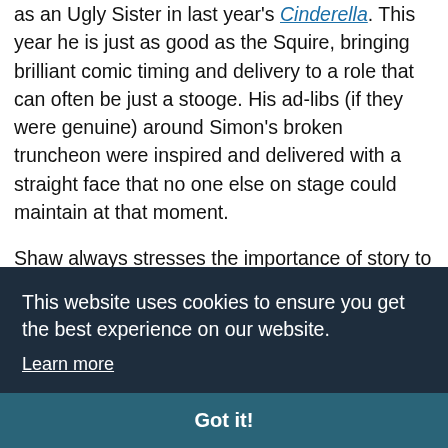as an Ugly Sister in last year's Cinderella. This year he is just as good as the Squire, bringing brilliant comic timing and delivery to a role that can often be just a stooge. His ad-libs (if they were genuine) around Simon's broken truncheon were inspired and delivered with a straight face that no one else on stage could maintain at that moment.
Shaw always stresses the importance of story to his pantos, but the storyline this year is a bit confused with too many elements...
This website uses cookies to ensure you get the best experience on our website.
Learn more
Got it!